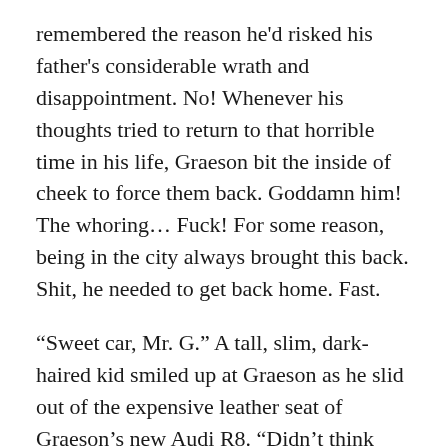remembered the reason he'd risked his father's considerable wrath and disappointment. No! Whenever his thoughts tried to return to that horrible time in his life, Graeson bit the inside of cheek to force them back. Goddamn him! The whoring… Fuck! For some reason, being in the city always brought this back. Shit, he needed to get back home. Fast.
“Sweet car, Mr. G.” A tall, slim, dark-haired kid smiled up at Graeson as he slid out of the expensive leather seat of Graeson’s new Audi R8. “Didn’t think you could top that Porsche 911!” Micah, one of the valets for Hardin Offshore, was also a junior at the University of Houston. He’d called Graeson Mr. G. since the day Graeson told him Mr. Hardin was his father’s name and to call him Graeson. Only fifteen at the time and raised to be respectful of his elders,